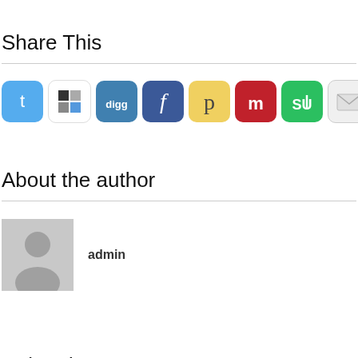Share This
[Figure (infographic): Row of social media sharing icons: Twitter, ShareThis, Digg, Facebook, Pinterest, Myspace, StumbleUpon, Email, Tumblr, Windows, Google]
About the author
[Figure (photo): Generic gray user avatar silhouette placeholder image]
admin
Related Posts